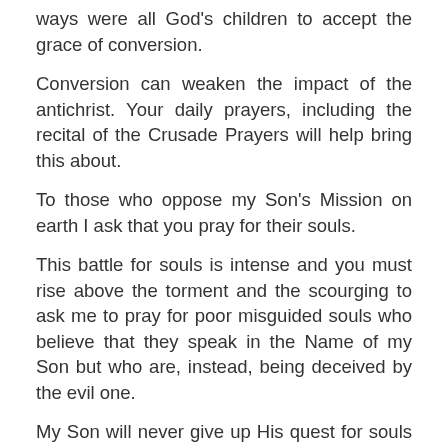ways were all God's children to accept the grace of conversion.
Conversion can weaken the impact of the antichrist. Your daily prayers, including the recital of the Crusade Prayers will help bring this about.
To those who oppose my Son's Mission on earth I ask that you pray for their souls.
This battle for souls is intense and you must rise above the torment and the scourging to ask me to pray for poor misguided souls who believe that they speak in the Name of my Son but who are, instead, being deceived by the evil one.
My Son will never give up His quest for souls especially those who reject Him, mock His Holy Word and whose souls are blackened by sin.
You must stay strong, children, all of you and